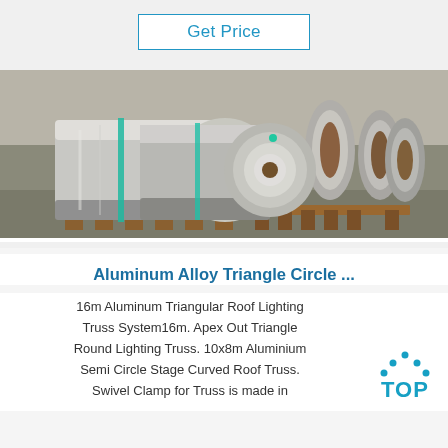Get Price
[Figure (photo): Large rolls of aluminum alloy coils stored in an industrial warehouse, shown stacked on wooden pallets with teal/green binding straps around them]
Aluminum Alloy Triangle Circle ...
16m Aluminum Triangular Roof Lighting Truss System16m. Apex Out Triangle Round Lighting Truss. 10x8m Aluminium Semi Circle Stage Curved Roof Truss. Swivel Clamp for Truss is made in
[Figure (logo): TOP logo with cyan dots arranged in a triangle/arc pattern above the word TOP in bold cyan letters]